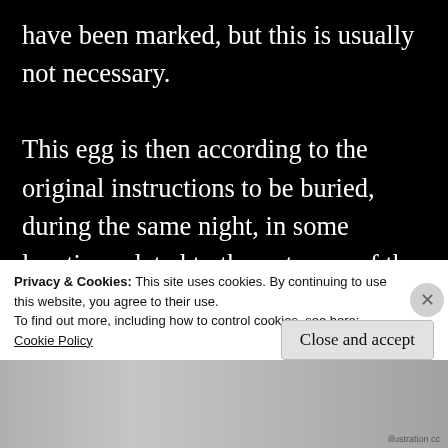have been marked, but this is usually not necessary.
This egg is then according to the original instructions to be buried, during the same night, in some location related to the outcome of the spell where it is not disturbed or accidentally broken. It is thus allowed to “hatch” the expanding forces seeded into it, which then will act and cause changes in accordance with the magical charges t
Privacy & Cookies: This site uses cookies. By continuing to use this website, you agree to their use.
To find out more, including how to control cookies, see here: Cookie Policy
Close and accept